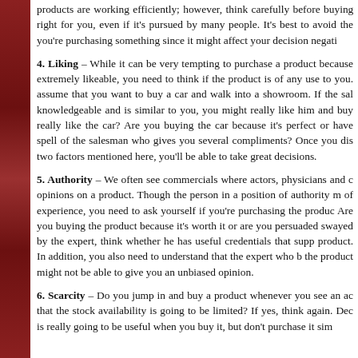products are working efficiently; however, think carefully before buying right for you, even if it's pursued by many people. It's best to avoid the you're purchasing something since it might affect your decision negati
4. Liking – While it can be very tempting to purchase a product because extremely likeable, you need to think if the product is of any use to you. assume that you want to buy a car and walk into a showroom. If the salesman is knowledgeable and is similar to you, you might really like him and buy... really like the car? Are you buying the car because it's perfect or have you fallen under the spell of the salesman who gives you several compliments? Once you distinguish between the two factors mentioned here, you'll be able to take great decisions.
5. Authority – We often see commercials where actors, physicians and others give their opinions on a product. Though the person in a position of authority may have a wealth of experience, you need to ask yourself if you're purchasing the product for the right reason. Are you buying the product because it's worth it or are you persuaded by the expert? If swayed by the expert, think whether he has useful credentials that support the quality of the product. In addition, you also need to understand that the expert who benefits by selling the product might not be able to give you an unbiased opinion.
6. Scarcity – Do you jump in and buy a product whenever you see an ad that says that the stock availability is going to be limited? If yes, think again. Decide whether it is really going to be useful when you buy it, but don't purchase it simply